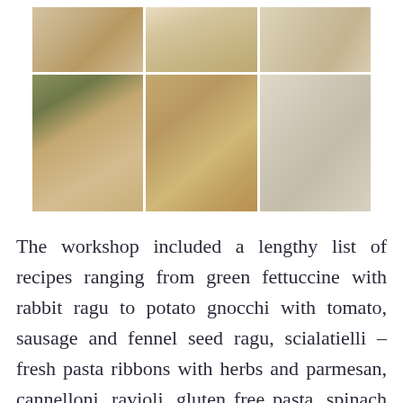[Figure (photo): Six-panel photo collage showing pasta/gnocchi making process: top row shows three images of dough and ingredients in bowls; bottom row shows hands kneading dough, cut gnocchi pieces on a board, and finished gnocchi arranged on a tray.]
The workshop included a lengthy list of recipes ranging from green fettuccine with rabbit ragu to potato gnocchi with tomato, sausage and fennel seed ragu, scialatielli – fresh pasta ribbons with herbs and parmesan, cannelloni, ravioli, gluten free pasta, spinach pasta, clams with chilli, garlic, white wine and ribbons